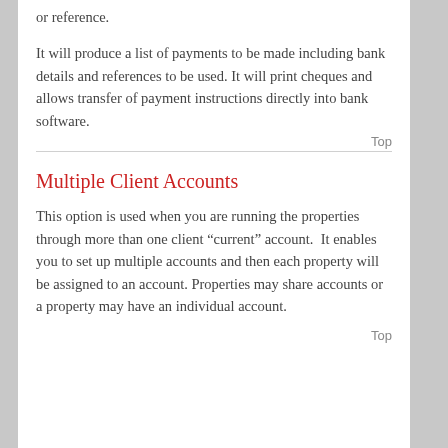or reference.
It will produce a list of payments to be made including bank details and references to be used. It will print cheques and allows transfer of payment instructions directly into bank software.
Top
Multiple Client Accounts
This option is used when you are running the properties through more than one client “current” account. It enables you to set up multiple accounts and then each property will be assigned to an account. Properties may share accounts or a property may have an individual account.
Top